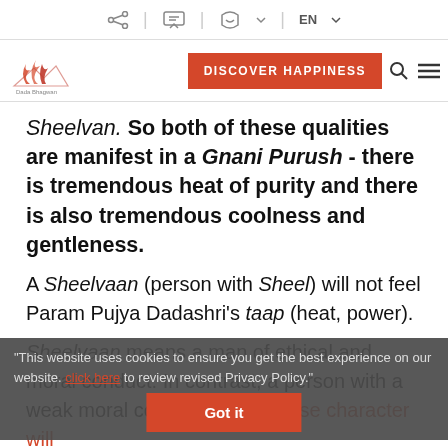Toolbar with share, chat, call, language (EN) icons
[Figure (logo): Website logo with flame icon and 'DISCOVER HAPPINESS' orange button, search and menu icons]
Sheelvan. So both of these qualities are manifest in a Gnani Purush - there is tremendous heat of purity and there is also tremendous coolness and gentleness.
A Sheelvaan (person with Sheel) will not feel Param Pujya Dadashri's taap (heat, power).
Sheelvaan means a man of ethical and moral conduct. In contrast, a person with a weak moral conduct, with a loose character will feel a lot of taap (heat).
"This website uses cookies to ensure you get the best experience on our website. click here to review revised Privacy Policy."
Got it